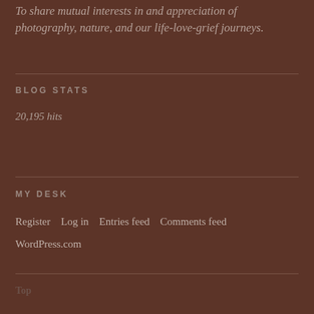To share mutual interests in and appreciation of photography, nature, and our life-love-grief journeys.
BLOG STATS
20,195 hits
MY DESK
Register
Log in
Entries feed
Comments feed
WordPress.com
Top